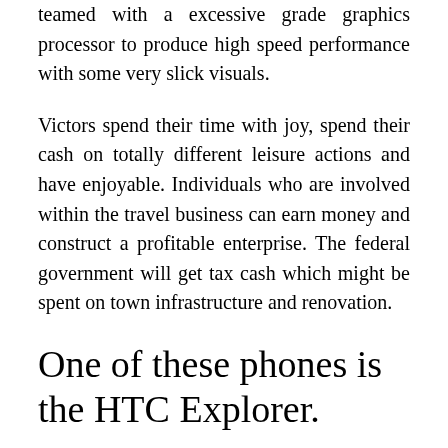teamed with a excessive grade graphics processor to produce high speed performance with some very slick visuals.
Victors spend their time with joy, spend their cash on totally different leisure actions and have enjoyable. Individuals who are involved within the travel business can earn money and construct a profitable enterprise. The federal government will get tax cash which might be spent on town infrastructure and renovation.
One of these phones is the HTC Explorer.
The touch QWERTY back flip kind factor has